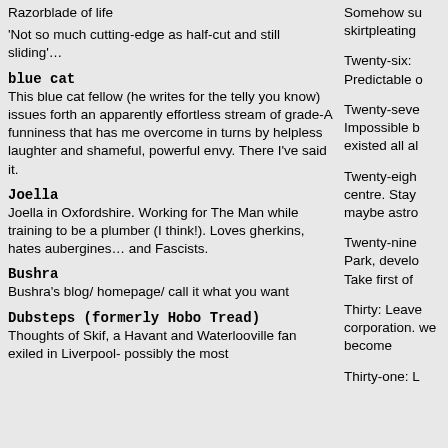Razorblade of life
'Not so much cutting-edge as half-cut and still sliding'…
blue cat
This blue cat fellow (he writes for the telly you know) issues forth an apparently effortless stream of grade-A funniness that has me overcome in turns by helpless laughter and shameful, powerful envy. There I've said it.
Joella
Joella in Oxfordshire. Working for The Man while training to be a plumber (I think!). Loves gherkins, hates aubergines… and Fascists.
Bushra
Bushra's blog/ homepage/ call it what you want
Dubsteps (formerly Hobo Tread)
Thoughts of Skif, a Havant and Waterlooville fan exiled in Liverpool- possibly the most
Somehow su skirtpleating
Twenty-six: Predictable o
Twenty-seve Impossible b existed all al
Twenty-eigh centre. Stay maybe astro
Twenty-nine Park, develo Take first of
Thirty: Leave corporation. we become
Thirty-one: L